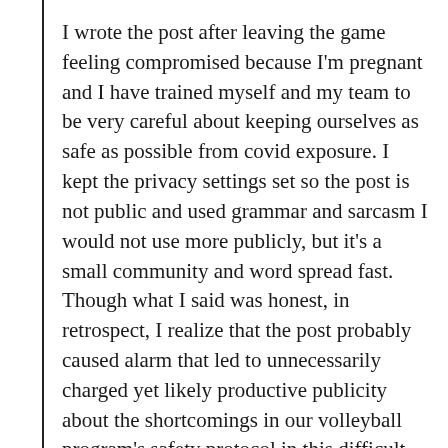I wrote the post after leaving the game feeling compromised because I'm pregnant and I have trained myself and my team to be very careful about keeping ourselves as safe as possible from covid exposure. I kept the privacy settings set so the post is not public and used grammar and sarcasm I would not use more publicly, but it's a small community and word spread fast. Though what I said was honest, in retrospect, I realize that the post probably caused alarm that led to unnecessarily charged yet likely productive publicity about the shortcomings in our volleyball program's safety protocol in this difficult time when operating a sports program at all is a valiant effort.
My first call in the morning was from the principal who is a friend of mine telling me